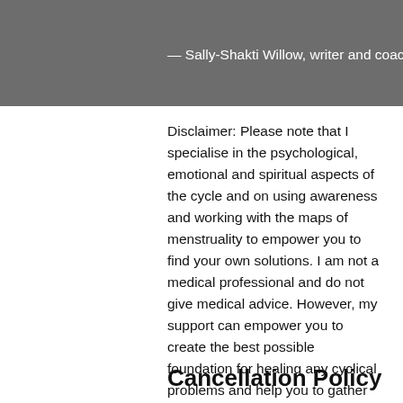— Sally-Shakti Willow, writer and coach
Disclaimer: Please note that I specialise in the psychological, emotional and spiritual aspects of the cycle and on using awareness and working with the maps of menstruality to empower you to find your own solutions. I am not a medical professional and do not give medical advice. However, my support can empower you to create the best possible foundation for healing any cyclical problems and help you to gather the information you need to approach medical professionals you might be working with in a more knowledgeable way.
Cancellation Policy